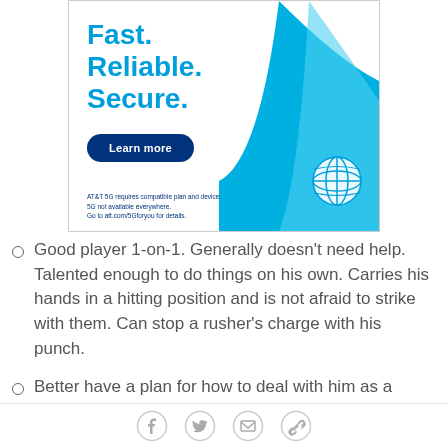[Figure (illustration): AT&T advertisement banner. Blue text reading 'Fast. Reliable. Secure.' with a 'Learn more' dark blue button. Blue wave/swoosh graphic in the bottom right with AT&T globe logo. Small disclaimer text reads: 'AT&T 5G requires compatible plan and device. 5G not available everywhere. Go to att.com/5Gforyou for details.']
Good player 1-on-1. Generally doesn't need help. Talented enough to do things on his own. Carries his hands in a hitting position and is not afraid to strike with them. Can stop a rusher's charge with his punch.
Better have a plan for how to deal with him as a rusher or he's going to frustrate the heck out of you.
Social share icons: Facebook, Twitter, Email, Link